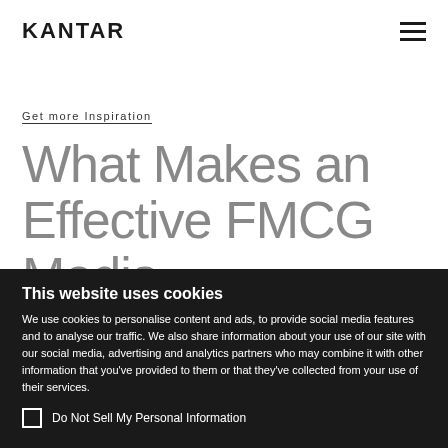KANTAR
Get more Inspiration
What Makes an Effective FMCG Media Campaign?
This website uses cookies
We use cookies to personalise content and ads, to provide social media features and to analyse our traffic. We also share information about your use of our site with our social media, advertising and analytics partners who may combine it with other information that you've provided to them or that they've collected from your use of their services.
Do Not Sell My Personal Information